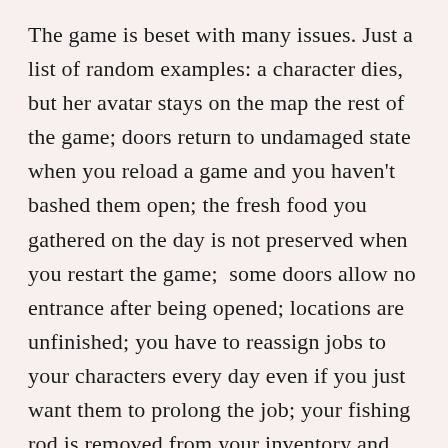The game is beset with many issues. Just a list of random examples: a character dies, but her avatar stays on the map the rest of the game; doors return to undamaged state when you reload a game and you haven't bashed them open; the fresh food you gathered on the day is not preserved when you restart the game;  some doors allow no entrance after being opened; locations are unfinished; you have to reassign jobs to your characters every day even if you just want them to prolong the job; your fishing rod is removed from your inventory and put in the storage every time you enter the shelter and thus has to retrieved again when you want to go fishing again; somehow the fourth party member is afflicted by bad pathing which could make him/her run the other way